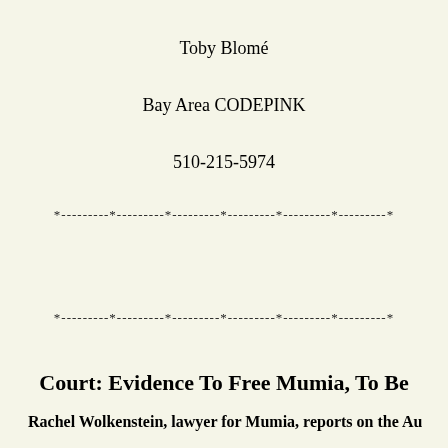Toby Blomé
Bay Area CODEPINK
510-215-5974
*---------*---------*---------*---------*---------*---------*
*---------*---------*---------*---------*---------*---------*
Court: Evidence To Free Mumia, To Be
Rachel Wolkenstein, lawyer for Mumia, reports on the Au